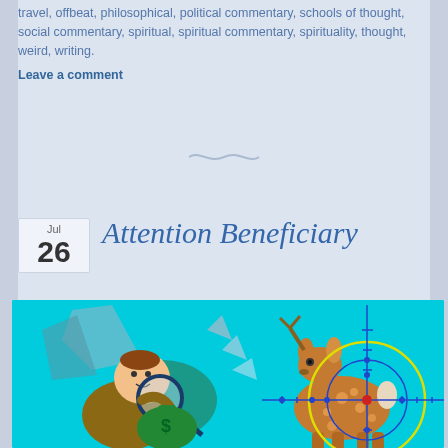travel, offbeat, philosophical, political commentary, schools of thought, social commentary, spiritual, spiritual commentary, spirituality, thought, weird, writing.
Leave a comment
[Figure (illustration): Decorative tilde/wave divider symbol]
Jul 26
Attention Beneficiary
[Figure (illustration): Cartoon illustration on cyan background: a man in a suit examining a money bag with a magnifying glass on the left; a deer/fawn with a rifle scope crosshair target overlay on the right.]